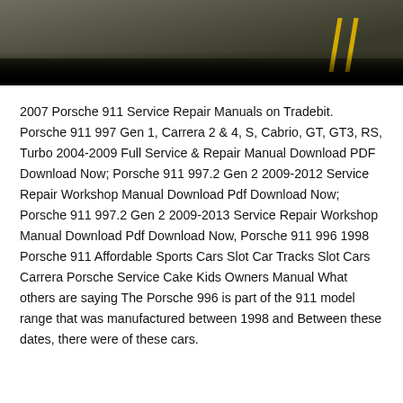[Figure (photo): Top portion of a Porsche car on a road with yellow lane markings, motion blur effect, dark lower section]
2007 Porsche 911 Service Repair Manuals on Tradebit. Porsche 911 997 Gen 1, Carrera 2 & 4, S, Cabrio, GT, GT3, RS, Turbo 2004-2009 Full Service & Repair Manual Download PDF Download Now; Porsche 911 997.2 Gen 2 2009-2012 Service Repair Workshop Manual Download Pdf Download Now; Porsche 911 997.2 Gen 2 2009-2013 Service Repair Workshop Manual Download Pdf Download Now, Porsche 911 996 1998 Porsche 911 Affordable Sports Cars Slot Car Tracks Slot Cars Carrera Porsche Service Cake Kids Owners Manual What others are saying The Porsche 996 is part of the 911 model range that was manufactured between 1998 and Between these dates, there were of these cars.